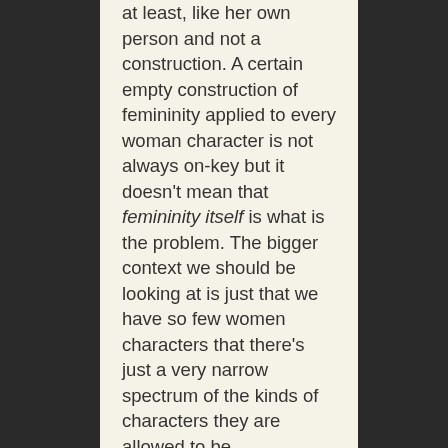at least, like her own person and not a construction. A certain empty construction of femininity applied to every woman character is not always on-key but it doesn't mean that femininity itself is what is the problem. The bigger context we should be looking at is just that we have so few women characters that there's just a very narrow spectrum of the kinds of characters they are allowed to be.

Now, none of this is to say that I don't think these types of shows